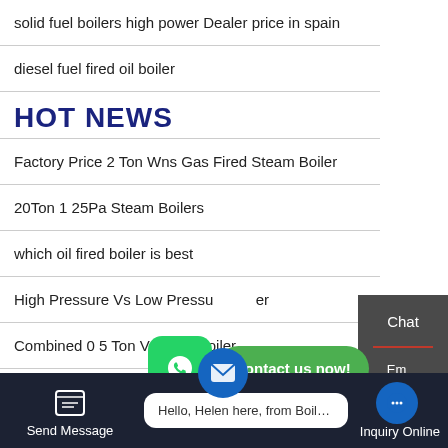solid fuel boilers high power Dealer price in spain
diesel fuel fired oil boiler
HOT NEWS
Factory Price 2 Ton Wns Gas Fired Steam Boiler
20Ton 1 25Pa Steam Boilers
which oil fired boiler is best
High Pressure Vs Low Pressure Boiler
Combined 0 5 Ton Vacuum Boiler
[Figure (screenshot): WhatsApp icon with green 'Contact us now!' button overlay]
[Figure (screenshot): Sidebar with Chat, Email, Contact options on dark grey background]
Send Message | Hello, Helen here, from Boiler factory | Inquiry Online